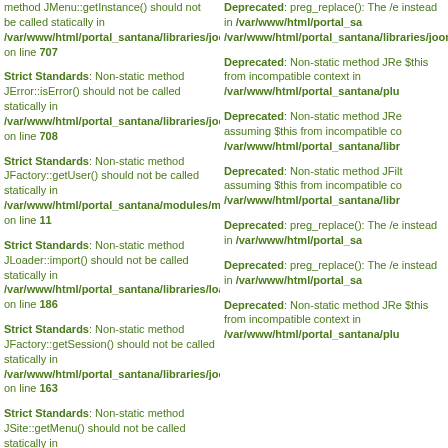method JMenu::getInstance() should not be called statically in /var/www/html/portal_santana/libraries/joomla/application/application.php on line 707
Strict Standards: Non-static method JError::isError() should not be called statically in /var/www/html/portal_santana/libraries/joomla/application/application.php on line 708
Strict Standards: Non-static method JFactory::getUser() should not be called statically in /var/www/html/portal_santana/modules/mod_mainmenu/tmpl/default.php on line 11
Strict Standards: Non-static method JLoader::import() should not be called statically in /var/www/html/portal_santana/libraries/loader.php on line 186
Strict Standards: Non-static method JFactory::getSession() should not be called statically in /var/www/html/portal_santana/libraries/joomla/factory.php on line 163
Strict Standards: Non-static method JSite::getMenu() should not be called statically in
Deprecated: preg_replace(): The /e instead in /var/www/html/portal_sa
/var/www/html/portal_santana/libraries/joomla/application/application.php
Deprecated: Non-static method JRe $this from incompatible context in /var/www/html/portal_santana/plu
Deprecated: Non-static method JRe assuming $this from incompatible co /var/www/html/portal_santana/libr
Deprecated: Non-static method JFilt assuming $this from incompatible co /var/www/html/portal_santana/libr
Deprecated: preg_replace(): The /e instead in /var/www/html/portal_sa
Deprecated: preg_replace(): The /e instead in /var/www/html/portal_sa
Deprecated: Non-static method JRe $this from incompatible context in /var/www/html/portal_santana/plu